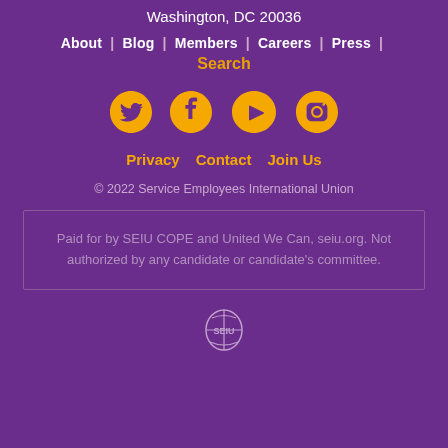Washington, DC 20036
About | Blog | Members | Careers | Press | Search
[Figure (other): Social media icons: Twitter, Facebook, YouTube, Instagram in gold/orange color]
Privacy  Contact  Join Us
© 2022 Service Employees International Union
Paid for by SEIU COPE and United We Can, seiu.org. Not authorized by any candidate or candidate's committee.
[Figure (logo): SEIU logo emblem in outline style, white/light color on purple background]